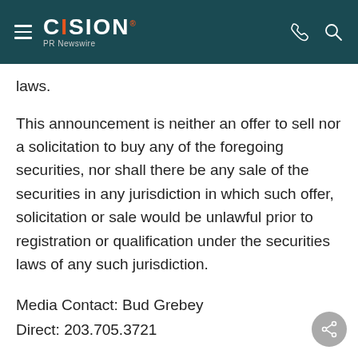CISION PR Newswire
laws.
This announcement is neither an offer to sell nor a solicitation to buy any of the foregoing securities, nor shall there be any sale of the securities in any jurisdiction in which such offer, solicitation or sale would be unlawful prior to registration or qualification under the securities laws of any such jurisdiction.
Media Contact: Bud Grebey
Direct: 203.705.3721